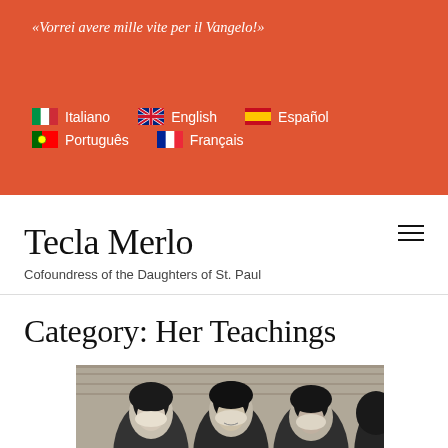«Vorrei avere mille vite per il Vangelo!»
Italiano
English
Español
Português
Français
Tecla Merlo
Cofoundress of the Daughters of St. Paul
Category: Her Teachings
[Figure (photo): Black and white photograph of several nuns wearing traditional habits with white wimples and dark veils, photographed against a brick wall background.]